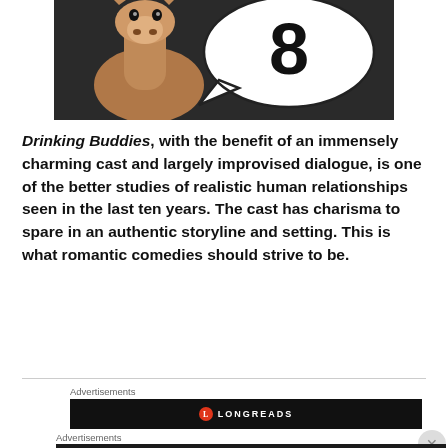[Figure (illustration): A llama/alpaca animal on a dark background on the left side, with a white speech bubble on the right side containing a large bold number 8.]
Drinking Buddies, with the benefit of an immensely charming cast and largely improvised dialogue, is one of the better studies of realistic human relationships seen in the last ten years. The cast has charisma to spare in an authentic storyline and setting. This is what romantic comedies should strive to be.
Advertisements
[Figure (logo): Longreads advertisement banner, black background with Longreads logo (red circle with L and text LONGREADS in white).]
Advertisements
[Figure (infographic): Advertisement: dark background with white circle icon showing a person icon, teal italic text reading 'Turn your blog into a money-making online course.' with a white arrow on the right.]